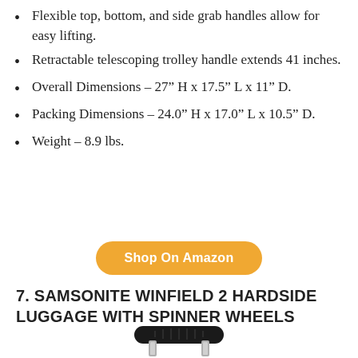Flexible top, bottom, and side grab handles allow for easy lifting.
Retractable telescoping trolley handle extends 41 inches.
Overall Dimensions – 27″ H x 17.5″ L x 11″ D.
Packing Dimensions – 24.0″ H x 17.0″ L x 10.5″ D.
Weight – 8.9 lbs.
Shop On Amazon
7. SAMSONITE WINFIELD 2 HARDSIDE LUGGAGE WITH SPINNER WHEELS
[Figure (photo): Top portion of a black Samsonite Winfield 2 hardside luggage showing the telescoping handle grip and upper frame]